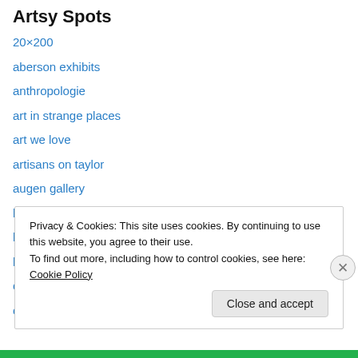Artsy Spots
20×200
aberson exhibits
anthropologie
art in strange places
art we love
artisans on taylor
augen gallery
blue door artists
bullseye gallery
butters gallery
chroma gallery
cummer gallery of art
Privacy & Cookies: This site uses cookies. By continuing to use this website, you agree to their use.
To find out more, including how to control cookies, see here: Cookie Policy
Close and accept